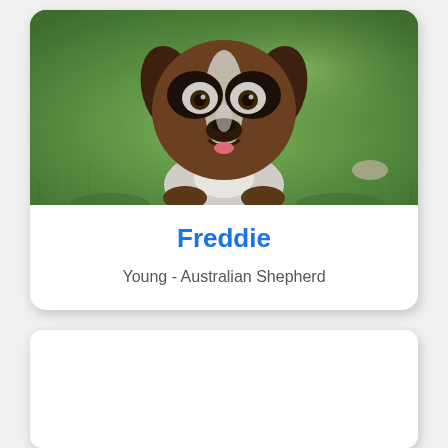[Figure (photo): Photo of a young Australian Shepherd dog named Freddie, looking at the camera on green grass]
Freddie
Young - Australian Shepherd